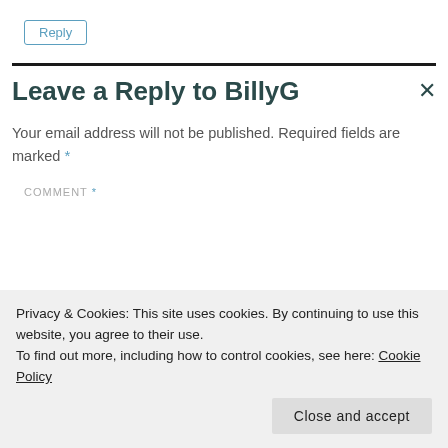Reply
Leave a Reply to BillyG
Your email address will not be published. Required fields are marked *
COMMENT *
Privacy & Cookies: This site uses cookies. By continuing to use this website, you agree to their use.
To find out more, including how to control cookies, see here: Cookie Policy
Close and accept